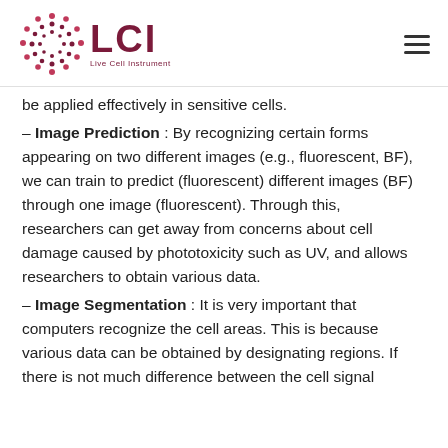LCI Live Cell Instrument
be applied effectively in sensitive cells.
– Image Prediction : By recognizing certain forms appearing on two different images (e.g., fluorescent, BF), we can train to predict (fluorescent) different images (BF) through one image (fluorescent). Through this, researchers can get away from concerns about cell damage caused by phototoxicity such as UV, and allows researchers to obtain various data.
– Image Segmentation : It is very important that computers recognize the cell areas. This is because various data can be obtained by designating regions. If there is not much difference between the cell signal